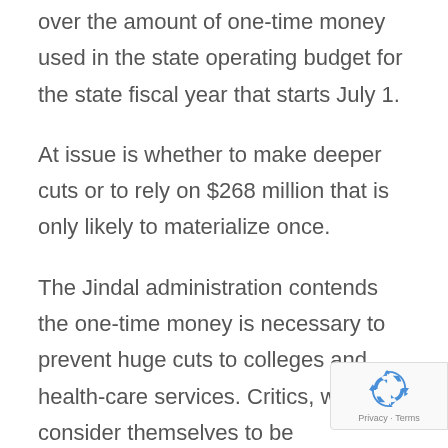over the amount of one-time money used in the state operating budget for the state fiscal year that starts July 1.
At issue is whether to make deeper cuts or to rely on $268 million that is only likely to materialize once.
The Jindal administration contends the one-time money is necessary to prevent huge cuts to colleges and health-care services. Critics, who consider themselves to be conservatives, counter that state government needs to operate on the
[Figure (other): Google reCAPTCHA badge with recycling arrow icon and 'Privacy - Terms' text]